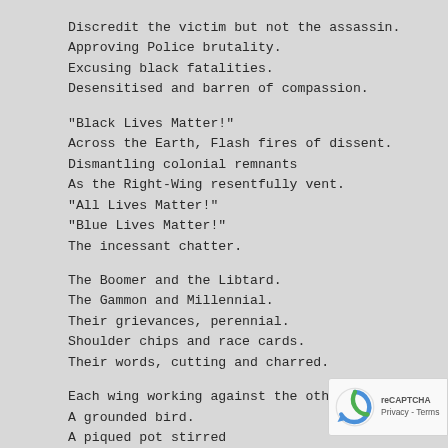Discredit the victim but not the assassin.
Approving Police brutality.
Excusing black fatalities.
Desensitised and barren of compassion.

"Black Lives Matter!"
Across the Earth, Flash fires of dissent.
Dismantling colonial remnants
As the Right-Wing resentfully vent.
"All Lives Matter!"
"Blue Lives Matter!"
The incessant chatter.

The Boomer and the Libtard.
The Gammon and Millennial.
Their grievances, perennial.
Shoulder chips and race cards.
Their words, cutting and charred.

Each wing working against the other.
A grounded bird.
A piqued pot stirred
[Figure (logo): Google reCAPTCHA badge with spinning arrow icon and Privacy - Terms text]